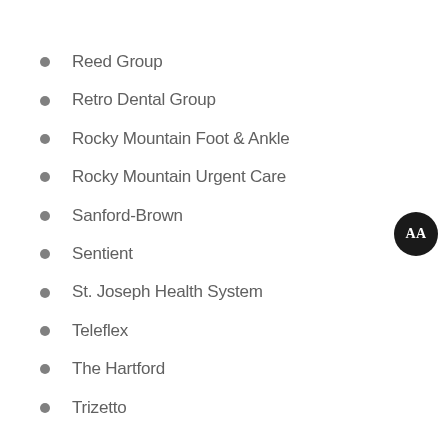Reed Group
Retro Dental Group
Rocky Mountain Foot & Ankle
Rocky Mountain Urgent Care
Sanford-Brown
Sentient
St. Joseph Health System
Teleflex
The Hartford
Trizetto